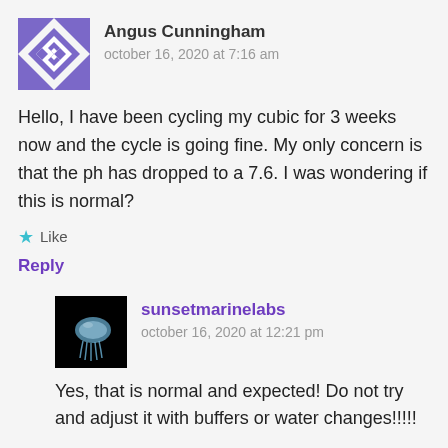[Figure (illustration): Avatar icon for Angus Cunningham — geometric quilt-style pattern in purple and white]
Angus Cunningham
october 16, 2020 at 7:16 am
Hello, I have been cycling my cubic for 3 weeks now and the cycle is going fine. My only concern is that the ph has dropped to a 7.6. I was wondering if this is normal?
★ Like
Reply
[Figure (photo): Avatar photo for sunsetmarinelabs — a jellyfish on a black background]
sunsetmarinelabs
october 16, 2020 at 12:21 pm
Yes, that is normal and expected! Do not try and adjust it with buffers or water changes!!!!!